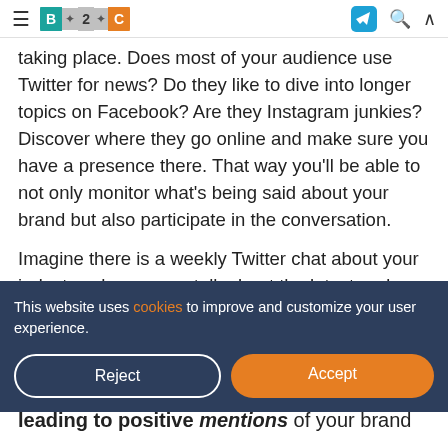B2C [logo nav bar with hamburger, B2C logo, telegram icon, search, chevron]
taking place. Does most of your audience use Twitter for news? Do they like to dive into longer topics on Facebook? Are they Instagram junkies? Discover where they go online and make sure you have a presence there. That way you'll be able to not only monitor what's being said about your brand but also participate in the conversation.
Imagine there is a weekly Twitter chat about your industry where users talk about the latest and greatest products. One
This website uses cookies to improve and customize your user experience.
Reject  Accept
leading to positive mentions of your brand